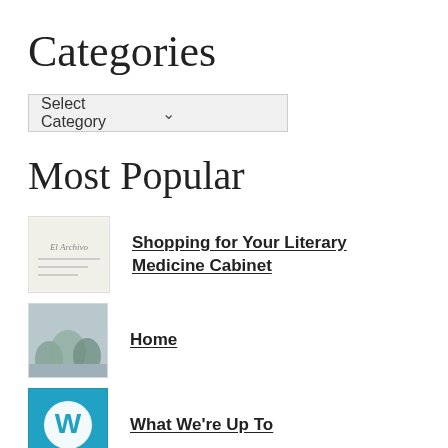Categories
[Figure (screenshot): A dropdown select box labeled 'Select Category' with a chevron arrow on the right]
Most Popular
Shopping for Your Literary Medicine Cabinet
Home
What We're Up To
Step back and Refocus
I am going home